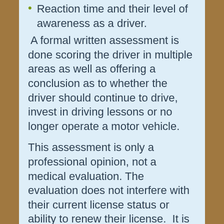Reaction time and their level of awareness as a driver.
A formal written assessment is done scoring the driver in multiple areas as well as offering a conclusion as to whether the driver should continue to drive, invest in driving lessons or no longer operate a motor vehicle.
This assessment is only a professional opinion, not a medical evaluation. The evaluation does not interfere with their current license status or ability to renew their license.  It is only a recommendation.  The driver and their family will then decide the best course of action.